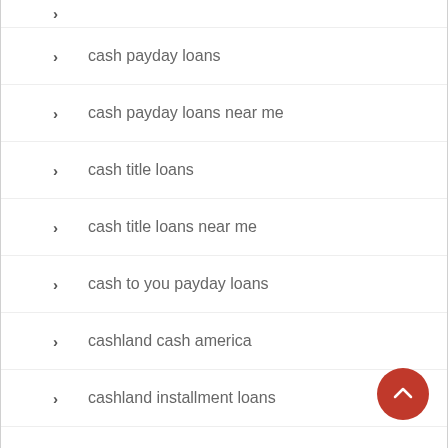cash payday loans
cash payday loans near me
cash title loans
cash title loans near me
cash to you payday loans
cashland cash america
cashland installment loans
cashland on linden avenue
cashland payday loans
cashwell installment loans
casino
casino games canada
casino online canada
Casual dating app reviews
casual sex dating sign in